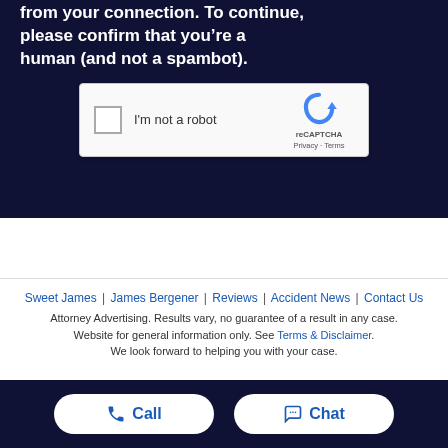from your connection. To continue, please confirm that youâ€™re a human (and not a spambot).
[Figure (screenshot): reCAPTCHA widget with checkbox labeled 'I'm not a robot' and Google reCAPTCHA logo with Privacy - Terms links]
Sweet James | James Bergener | Reviews | Accident News | Contact Us
Attorney Advertising. Results vary, no guarantee of a result in any case. Website for general information only. See Terms & Disclaimer. We look forward to helping you with your case.
Call   Chat